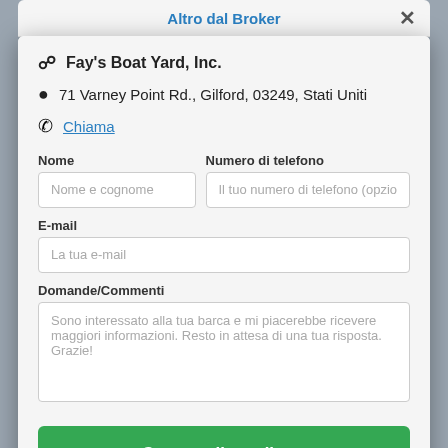Altro dal Broker
Fay's Boat Yard, Inc.
71 Varney Point Rd., Gilford, 03249, Stati Uniti
Chiama
Nome
Nome e cognome
Numero di telefono
Il tuo numero di telefono (opzio
E-mail
La tua e-mail
Domande/Commenti
Sono interessato alla tua barca e mi piacerebbe ricevere maggiori informazioni. Resto in attesa di una tua risposta. Grazie!
Contatta il venditore